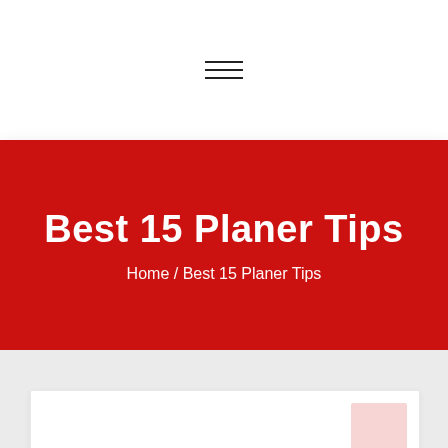[Figure (other): Hamburger menu icon with three horizontal lines]
Best 15 Planer Tips
Home / Best 15 Planer Tips
[Figure (other): White content card with pink placeholder block in top-right corner]